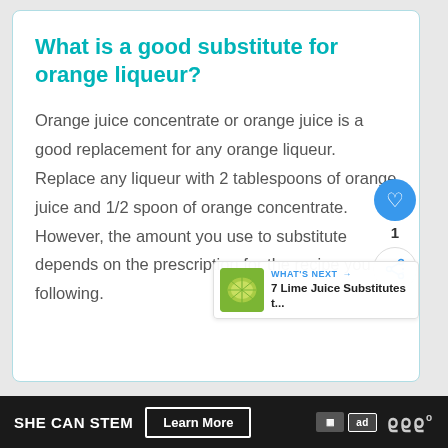What is a good substitute for orange liqueur?
Orange juice concentrate or orange juice is a good replacement for any orange liqueur. Replace any liqueur with 2 tablespoons of orange juice and 1/2 spoon of orange concentrate. However, the amount you use to substitute depends on the prescription for the recipe you following.
SHE CAN STEM   Learn More   ad